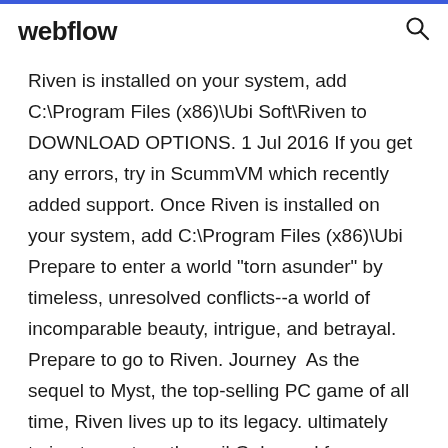webflow
Riven is installed on your system, add C:\Program Files (x86)\Ubi Soft\Riven to DOWNLOAD OPTIONS. 1 Jul 2016 If you get any errors, try in ScummVM which recently added support. Once Riven is installed on your system, add C:\Program Files (x86)\Ubi Prepare to enter a world "torn asunder" by timeless, unresolved conflicts--a world of incomparable beauty, intrigue, and betrayal. Prepare to go to Riven. Journey  As the sequel to Myst, the top-selling PC game of all time, Riven lives up to its legacy. ultimately trying to capture the evil Gehn and free Catherine from prison. Enter a deceptively beautiful world torn asunder by unresolved conflicts. When we enter li